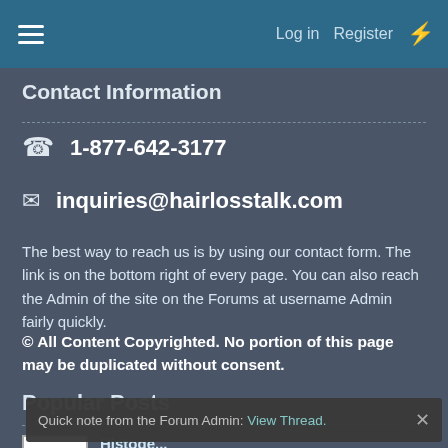Log in  Register
Contact Information
1-877-642-3177
inquiries@hairlosstalk.com
The best way to reach us is by using our contact form. The link is on the bottom right of every page. You can also reach the Admin of the site on the Forums at username Admin fairly quickly.
© All Content Copyrighted. No portion of this page may be duplicated without consent.
Popular Posts
Histoge...
1
Quick note from the Forum Admin: View Thread.